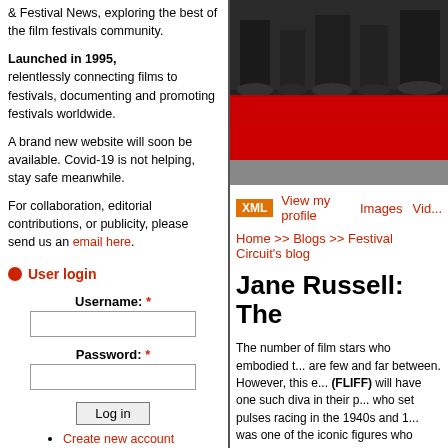& Festival News, exploring the best of the film festivals community.
Launched in 1995, relentlessly connecting films to festivals, documenting and promoting festivals worldwide.
A brand new website will soon be available. Covid-19 is not helping, stay safe meanwhile.
For collaboration, editorial contributions, or publicity, please send us an email here.
User login
Username: *
Password: *
Create new account
Request new password
[Figure (photo): Photo of people on a red carpet, lower bodies visible, high contrast image with red carpet area]
XML   View my profile   Images   Vid...
Home >> Blogs >> Festival Circuit's blog
Jane Russell: The
The number of film stars who embodied t... are few and far between. However, this e... (FLIFF) will have one such diva in their p... who set pulses racing in the 1940s and 1... was one of the iconic figures who defined... Hughes, she became a lightning rod of c... sensuality. Nearing the age of 90, Ms. Ru... audiences will get a chance to sample it a... famous films, the decadent musical com...